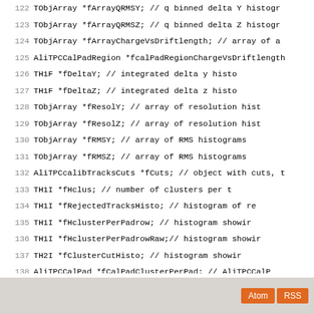Code listing lines 122-150 showing C++ class member declarations
Atom  RSS